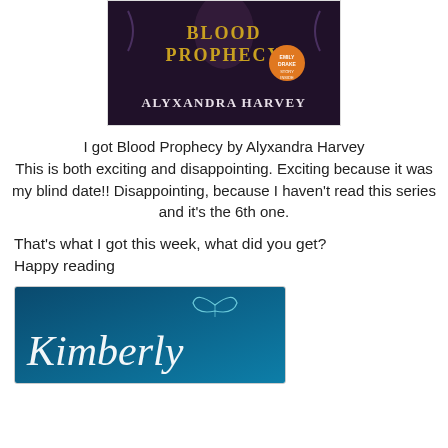[Figure (photo): Photo of the book 'Blood Prophecy' by Alyxandra Harvey, showing the book cover with gold text and an orange circular sticker.]
I got Blood Prophecy by Alyxandra Harvey
This is both exciting and disappointing. Exciting because it was my blind date!! Disappointing, because I haven't read this series and it's the 6th one.
That's what I got this week, what did you get?
Happy reading
[Figure (photo): Book cover with teal/blue background showing a butterfly and the name 'Kimberly' in italic white text.]